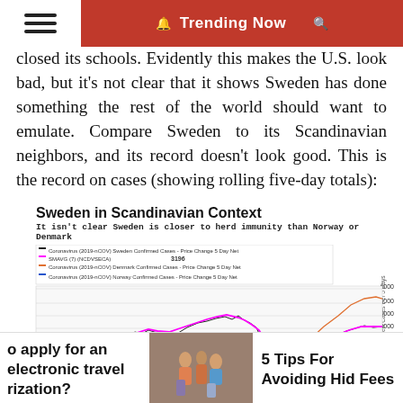Trending Now
closed its schools. Evidently this makes the U.S. look bad, but it’s not clear that it shows Sweden has done something the rest of the world should want to emulate. Compare Sweden to its Scandinavian neighbors, and its record doesn’t look good. This is the record on cases (showing rolling five-day totals):
[Figure (line-chart): Line chart showing rolling 5-day COVID-19 confirmed case totals for Sweden (black/magenta), Denmark (orange/red), and Norway (blue) from January to October 2020. Sweden peaks around June at ~3196, then rises again in autumn. Denmark shows a second wave rising sharply in September-October. Norway remains lower throughout.]
o apply for an electronic travel rization?
5 Tips For Avoiding Hid Fees